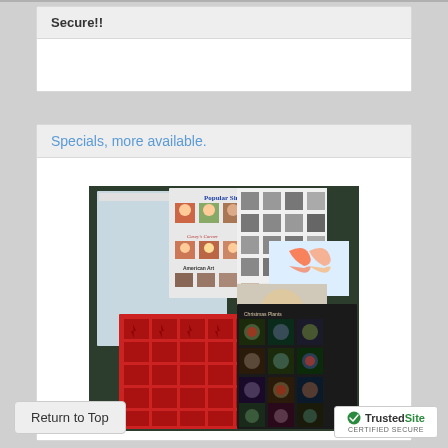Secure!!
Specials, more available.
[Figure (photo): Collection of US postage stamp sheets including Popular Singers series, Casey's Corner series, American Art series, Christmas Plants sheet, and other stamp sheets displayed on a dark surface]
Return to Top
[Figure (logo): TrustedSite Certified Secure badge with green checkmark]